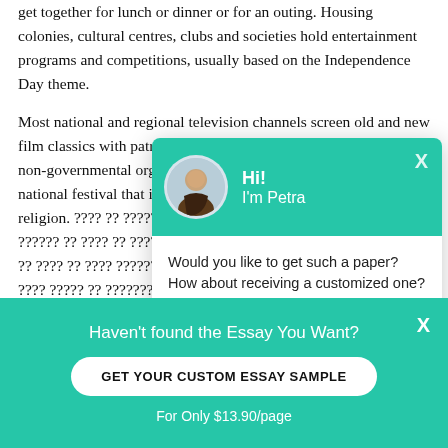get together for lunch or dinner or for an outing. Housing colonies, cultural centres, clubs and societies hold entertainment programs and competitions, usually based on the Independence Day theme.
Most national and regional television channels screen old and new film classics with patriotic themes on Independence Day. Many non-governmental organizations telecast patriotic programs. It is a national festival that is celebrated regardless of religion. ???? ?? ??????????? ?????? ?? ???? ?? ??????????? ?? ???? ?? ???? ????????????? ???? ????? ?? ????????? ?? ?? ?????? 1857 ?? ??? ?????? ?? ??? ?????? ???? ?? ??? ? ??? ? ????????? ???????? ?? ???????? ????? ?? ?????????? " ???? ??? ?????. ??????????? ???? ???? ?? ??????????? ???? ??? ????
[Figure (screenshot): Chat popup UI with teal header showing avatar photo of a woman, greeting 'Hi! I'm Petra', and message body asking 'Would you like to get such a paper? How about receiving a customized one?' with a 'Check it out' link]
Haven't found the Essay You Want?
GET YOUR CUSTOM ESSAY SAMPLE
For Only $13.90/page